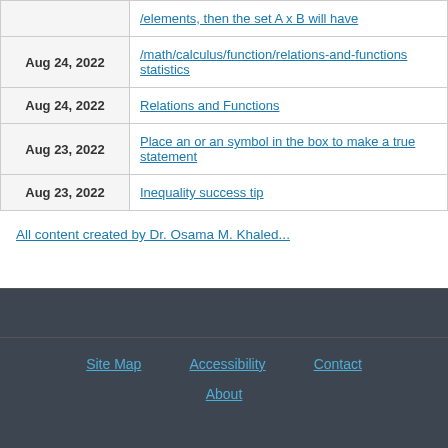| Date | Link |
| --- | --- |
|  | /elements, then the set A x B will have |
| Aug 24, 2022 | /math/calculus/function/relations-and-functions statistics |
| Aug 24, 2022 | Relations and Functions |
| Aug 23, 2022 | Place an or an symbol in the box to make a true statement |
| Aug 23, 2022 | Inequality success tip |
All content created by Dr. Osama M. Khaled...
Site Map | Accessibility | Contact | About